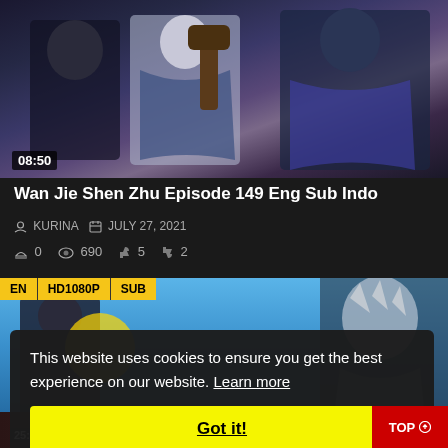[Figure (screenshot): Anime screenshot thumbnail showing characters in action, with timestamp 08:50 in bottom left]
Wan Jie Shen Zhu Episode 149 Eng Sub Indo
KURINA  JULY 27, 2021
0  690  5  2
[Figure (screenshot): Second anime episode thumbnail with EN, HD1080P, SUB badges]
This website uses cookies to ensure you get the best experience on our website. Learn more
Got it!
TOP